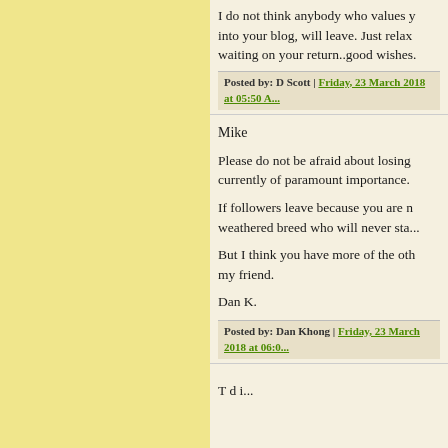I do not think anybody who values y... into your blog, will leave. Just relax waiting on your return..good wishes.
Posted by: D Scott | Friday, 23 March 2018 at 05:50 A...
Mike
Please do not be afraid about losing ... currently of paramount importance.
If followers leave because you are n... weathered breed who will never sta...
But I think you have more of the oth... my friend.
Dan K.
Posted by: Dan Khong | Friday, 23 March 2018 at 06:0...
T d i...